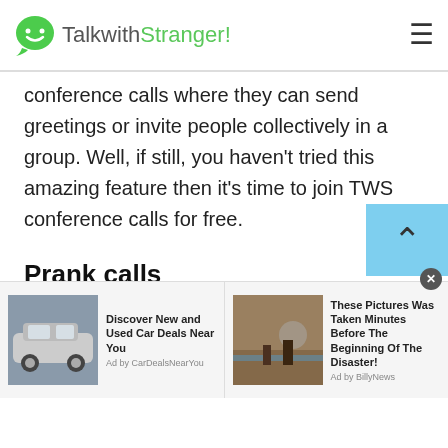TalkwithStranger!
conference calls where they can send greetings or invite people collectively in a group. Well, if still, you haven't tried this amazing feature then it's time to join TWS conference calls for free.
Prank calls
Do you want to do something different and exciting to have fun with friends? Why not make prank calls? Yes, it's absolutely a great idea as this will help you enjoy things in a better way. TWS is considered as
[Figure (screenshot): Advertisement bar with two ads: 'Discover New and Used Car Deals Near You' (Ad by CarDealsNearYou) with car image, and 'These Pictures Was Taken Minutes Before The Beginning Of The Disaster!' (Ad by BillyNews) with flood image. A close button (x) is visible.]